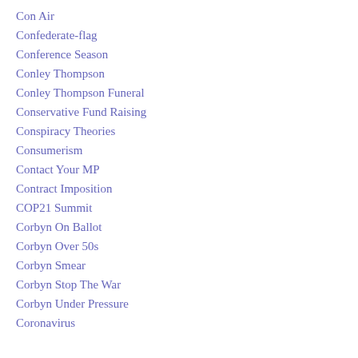Con Air
Confederate-flag
Conference Season
Conley Thompson
Conley Thompson Funeral
Conservative Fund Raising
Conspiracy Theories
Consumerism
Contact Your MP
Contract Imposition
COP21 Summit
Corbyn On Ballot
Corbyn Over 50s
Corbyn Smear
Corbyn Stop The War
Corbyn Under Pressure
Coronavirus